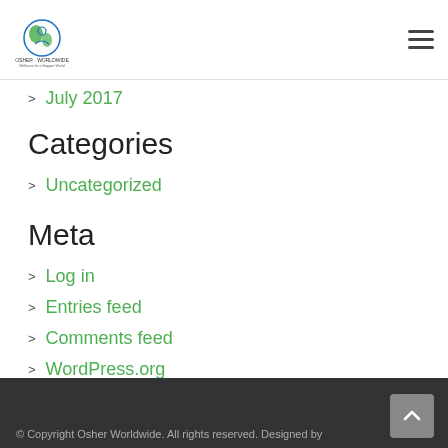Osher Worldwide
July 2017
Categories
Uncategorized
Meta
Log in
Entries feed
Comments feed
WordPress.org
© Copyright Osher Worldwide. All rights reserved. Designed by